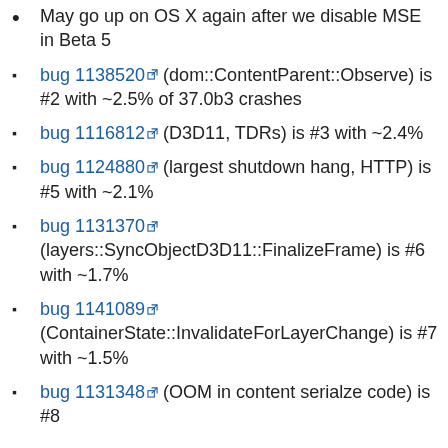May go up on OS X again after we disable MSE in Beta 5
bug 1138520 (dom::ContentParent::Observe) is #2 with ~2.5% of 37.0b3 crashes
bug 1116812 (D3D11, TDRs) is #3 with ~2.4%
bug 1124880 (largest shutdown hang, HTTP) is #5 with ~2.1%
bug 1131370 (layers::SyncObjectD3D11::FinalizeFrame) is #6 with ~1.7%
bug 1141089 (ContainerState::InvalidateForLayerChange) is #7 with ~1.5%
bug 1131348 (OOM in content serialze code) is #8 with ~1.4%